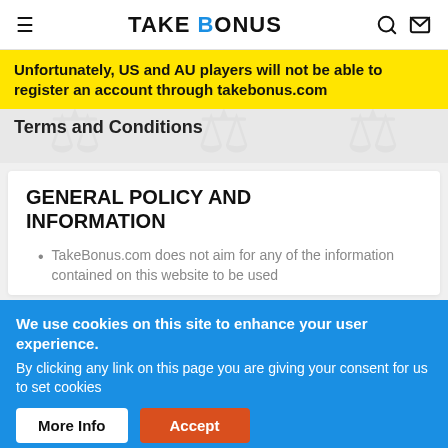TAKE BONUS
Unfortunately, US and AU players will not be able to register an account through takebonus.com
Terms and Conditions
GENERAL POLICY AND INFORMATION
TakeBonus.com does not aim for any of the information contained on this website to be used
We use cookies on this site to enhance your user experience.
By clicking any link on this page you are giving your consent for us to set cookies